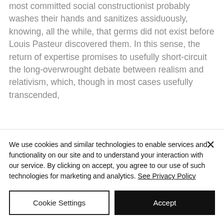most committed social constructionist probably washes their hands and sanitizes assiduously, knowing, all the while, that germs did not exist before Louis Pasteur discovered them. In this sense, the return of expertise promises to usefully short-circuit the long-overwrought debate between realism and relativism, which, though in most cases usefully transcended,
We use cookies and similar technologies to enable services and functionality on our site and to understand your interaction with our service. By clicking on accept, you agree to our use of such technologies for marketing and analytics. See Privacy Policy